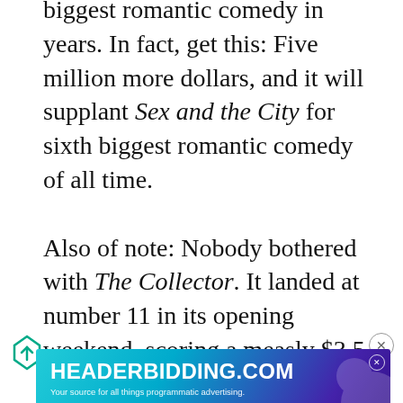biggest romantic comedy in years. In fact, get this: Five million more dollars, and it will supplant Sex and the City for sixth biggest romantic comedy of all time.

Also of note: Nobody bothered with The Collector. It landed at number 11 in its opening weekend, scoring a measly $3.5 million. barely edging out (500) Days of five times more theaters (and that's more than...
[Figure (other): HEADERBIDDING.COM advertisement banner — 'Your source for all things programmatic advertising.' with teal/purple gradient background and geometric pattern.]